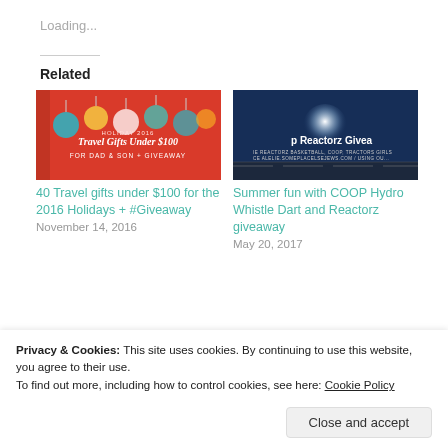Loading...
Related
[Figure (photo): Holiday gift guide image with ornaments on red background, text: Travel Gifts Under $100]
40 Travel gifts under $100 for the 2016 Holidays + #Giveaway
November 14, 2016
[Figure (photo): Dark blue image with COOP Hydro Whistle Dart and Reactorz branding]
Summer fun with COOP Hydro Whistle Dart and Reactorz giveaway
May 20, 2017
Privacy & Cookies: This site uses cookies. By continuing to use this website, you agree to their use.
To find out more, including how to control cookies, see here: Cookie Policy
Close and accept